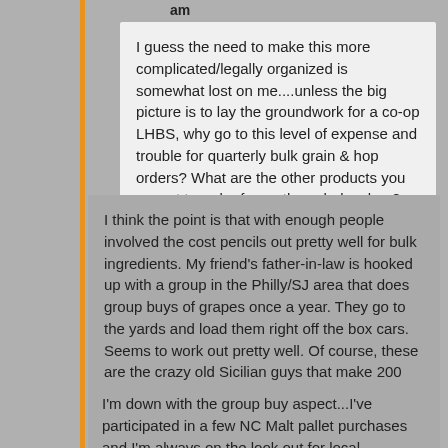am
I guess the need to make this more complicated/legally organized is somewhat lost on me....unless the big picture is to lay the groundwork for a co-op LHBS, why go to this level of expense and trouble for quarterly bulk grain & hop orders?  What are the other products you expect to order from other wholesalers?
I think the point is that with enough people involved the cost pencils out pretty well for bulk ingredients. My friend's father-in-law is hooked up with a group in the Philly/SJ area that does group buys of grapes once a year. They go to the yards and load them right off the box cars. Seems to work out pretty well. Of course, these are the crazy old Sicilian guys that make 200 gallons at a time, so they're ordering a LOT of grapes.
I'm down with the group buy aspect...I've participated in a few NC Malt pallet purchases and I'm always on the look out for local opportunities to throw in on another. ~27 bucks a sack of CMC two row w/ your share of shipping it a tremendous savings over $50 for a sack of Briess @ the LHBS.  Throw in